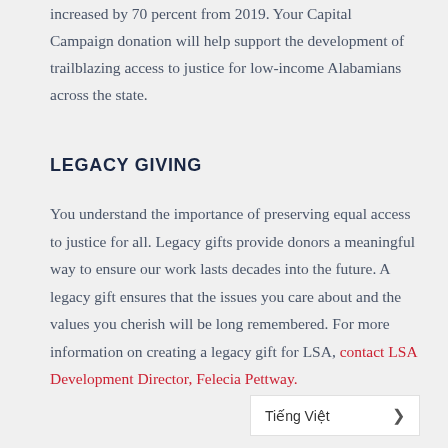increased by 70 percent from 2019. Your Capital Campaign donation will help support the development of trailblazing access to justice for low-income Alabamians across the state.
LEGACY GIVING
You understand the importance of preserving equal access to justice for all. Legacy gifts provide donors a meaningful way to ensure our work lasts decades into the future. A legacy gift ensures that the issues you care about and the values you cherish will be long remembered. For more information on creating a legacy gift for LSA, contact LSA Development Director, Felecia Pettway.
Tiếng Việt >